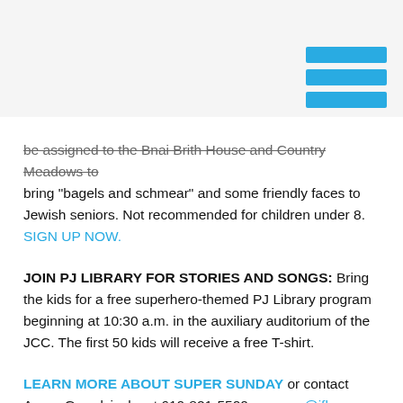[hamburger menu icon]
be assigned to the Bnai Brith House and Country Meadows to bring "bagels and schmear" and some friendly faces to Jewish seniors. Not recommended for children under 8. SIGN UP NOW.
JOIN PJ LIBRARY FOR STORIES AND SONGS: Bring the kids for a free superhero-themed PJ Library program beginning at 10:30 a.m. in the auxiliary auditorium of the JCC. The first 50 kids will receive a free T-shirt.
LEARN MORE ABOUT SUPER SUNDAY or contact Aaron Gorodzinsky at 610-821-5500 or aaron@jflv.org.